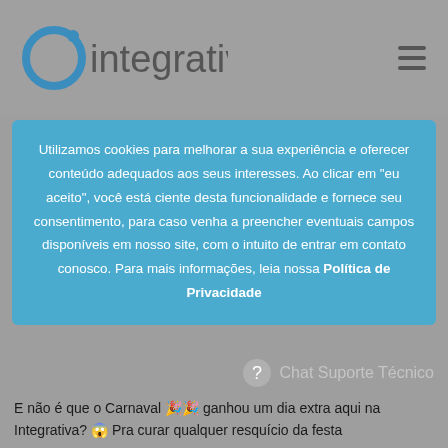[Figure (logo): Integrativa logo with circular 'Ci' icon in blue and gray text 'integrativa']
Utilizamos cookies para melhorar a sua experiência e oferecer conteúdo adequados aos seus interesses. Ao clicar em "eu aceito", você está ciente desta funcionalidade e fornece seu consentimento, para caso venha a preencher eventuais campos disponíveis em nosso site, com o intuito de entrar em contato conosco. Para mais informações, leia nossa Política de Privacidade
Chat Suporte Técnico
E não é que o Carnaval 🎉🎉 ganhou um dia extra aqui na Integrativa? 😱 Pra curar qualquer resquício da festa